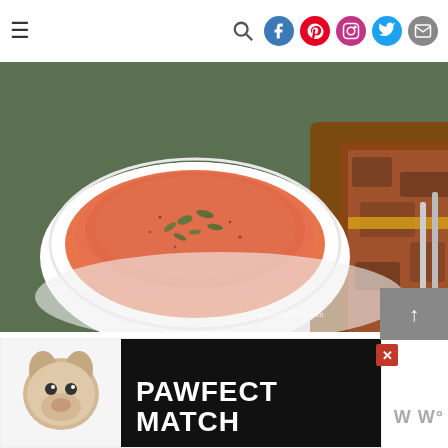≡  [search] [facebook] [pinterest] [instagram] [twitter] [email]
[Figure (photo): A white bowl of tomato bisque soup garnished with chopped basil, beside a grilled cheese sandwich on a white plate, with © ChaosIsBliss.com watermark]
BASIL TOMATO BISQUE RECIPE
[Figure (infographic): Advertisement banner: PAWFECT MATCH with a dog logo, close button, and Whisk/WW logo on the right]